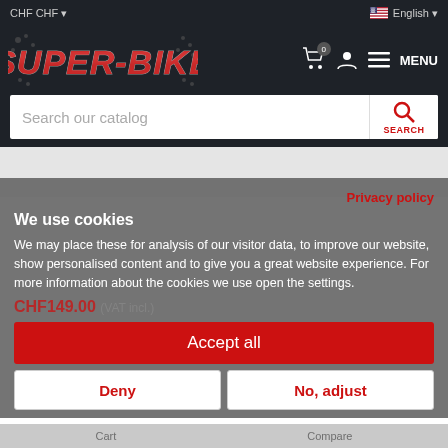CHF CHF
English
[Figure (logo): Super-Bike store logo with red stylized text on dark background]
Search our catalog
SEARCH
Privacy policy
We use cookies
We may place these for analysis of our visitor data, to improve our website, show personalised content and to give you a great website experience. For more information about the cookies we use open the settings.
CHF149.00 (VAT incl.)
Accept all
Deny
No, adjust
Cart
Compare